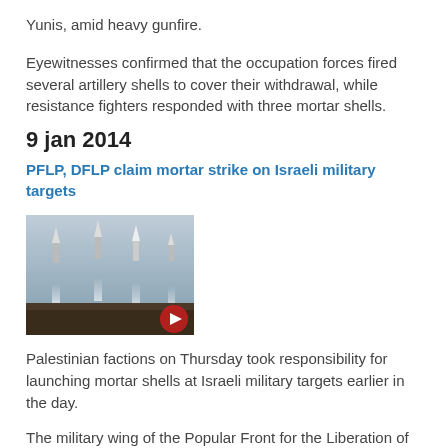Yunis, amid heavy gunfire.
Eyewitnesses confirmed that the occupation forces fired several artillery shells to cover their withdrawal, while resistance fighters responded with three mortar shells.
9 jan 2014
PFLP, DFLP claim mortar strike on Israeli military targets
[Figure (photo): Photo of rockets being launched into the sky, with smoke trails visible. A red play button icon is overlaid in the bottom-right corner.]
Palestinian factions on Thursday took responsibility for launching mortar shells at Israeli military targets earlier in the day.
The military wing of the Popular Front for the Liberation of Palestine,